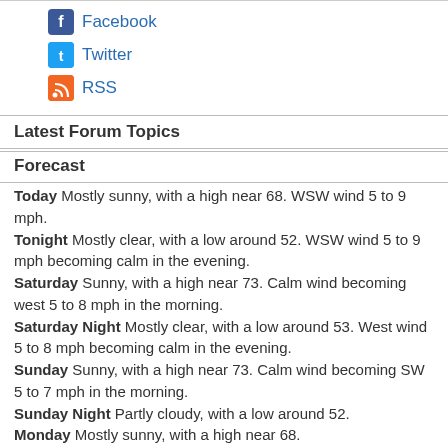Facebook
Twitter
RSS
Latest Forum Topics
Forecast
Today Mostly sunny, with a high near 68. WSW wind 5 to 9 mph.
Tonight Mostly clear, with a low around 52. WSW wind 5 to 9 mph becoming calm in the evening.
Saturday Sunny, with a high near 73. Calm wind becoming west 5 to 8 mph in the morning.
Saturday Night Mostly clear, with a low around 53. West wind 5 to 8 mph becoming calm in the evening.
Sunday Sunny, with a high near 73. Calm wind becoming SW 5 to 7 mph in the morning.
Sunday Night Partly cloudy, with a low around 52.
Monday Mostly sunny, with a high near 68.
Monday Night Partly cloudy, with a low around 52.